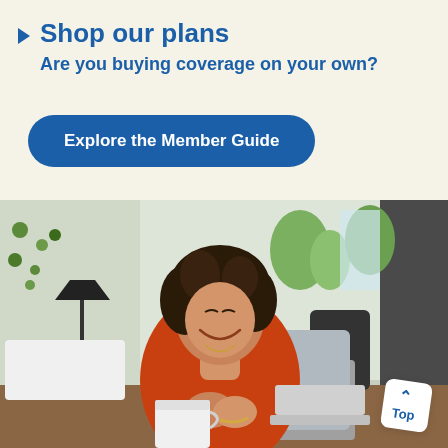Shop our plans
Are you buying coverage on your own?
Explore the Member Guide
[Figure (photo): Woman with curly dark hair wearing an orange top, smiling while sitting at a desk with a computer monitor, coffee cup, and laptop in a bright office environment. A 'Top' navigation badge is visible in the lower right corner.]